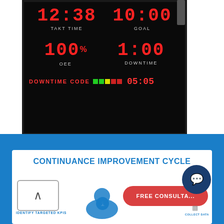[Figure (photo): LED display board showing manufacturing KPIs: TAKT TIME 12:38, GOAL 10:00, OEE 100%, DOWNTIME 1:00, DOWNTIME CODE with colored squares and time 05:05]
[Figure (screenshot): Text Us button widget with phone icon]
[Figure (infographic): Continuance Improvement Cycle infographic on blue background with white card, showing step 1 Identify Targeted KPIs, a circular process diagram, Free Consultation button, and chat bubble icon]
CONTINUANCE IMPROVEMENT CYCLE
IDENTIFY TARGETED KPIS  1